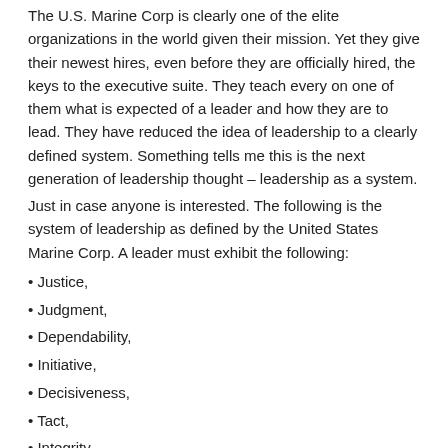The U.S. Marine Corp is clearly one of the elite organizations in the world given their mission. Yet they give their newest hires, even before they are officially hired, the keys to the executive suite. They teach every on one of them what is expected of a leader and how they are to lead. They have reduced the idea of leadership to a clearly defined system. Something tells me this is the next generation of leadership thought – leadership as a system.
Just in case anyone is interested. The following is the system of leadership as defined by the United States Marine Corp. A leader must exhibit the following:
Justice,
Judgment,
Dependability,
Initiative,
Decisiveness,
Tact,
Integrity,
Endurance,